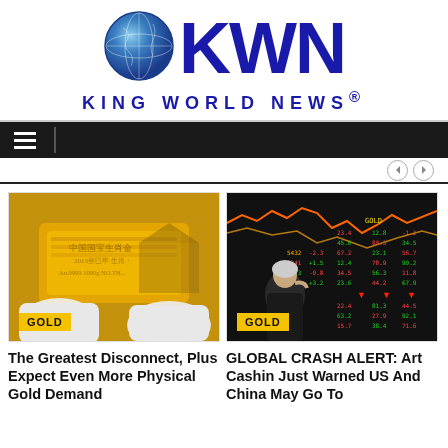[Figure (logo): KWN King World News logo with globe icon and bold blue letters]
[Figure (photo): Gold bar held with white gloves with Chinese text, GOLD badge overlay]
The Greatest Disconnect, Plus Expect Even More Physical Gold Demand
[Figure (photo): Woman in front of Chinese stock market board showing red/green numbers, GOLD badge overlay]
GLOBAL CRASH ALERT: Art Cashin Just Warned US And China May Go To